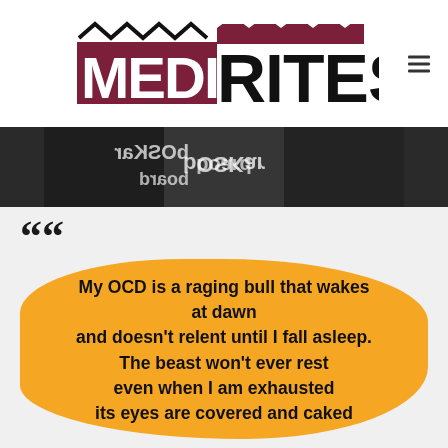[Figure (logo): MediaRites logo — MEDIA in white on dark red/maroon block with zigzag top, RITES in large black letters, zigzag wave pattern above in black and maroon, hamburger menu icon to the right]
[Figure (photo): Dark grunge photo showing text that reads 'bOSKar' and 'board' in reflected/inverted lettering on what appears to be a dark surface]
““ My OCD is a raging bull that wakes at dawn and doesn't relent until I fall asleep. The beast won't ever rest even when I am exhausted its eyes are covered and caked